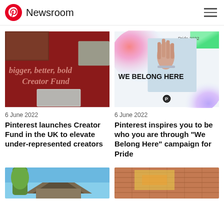Pinterest Newsroom
[Figure (photo): Red promotional image with text 'bigger, better, bold Creator Fund' and photos of creators]
[Figure (photo): Pride 2022 campaign image with text 'WE BELONG HERE' and hand gesture on colorful gradient background]
6 June 2022
Pinterest launches Creator Fund in the UK to elevate under-represented creators
6 June 2022
Pinterest inspires you to be who you are through "We Belong Here" campaign for Pride
[Figure (photo): Partial image showing a house with plant being held up]
[Figure (photo): Partial image showing a brick wall mural]